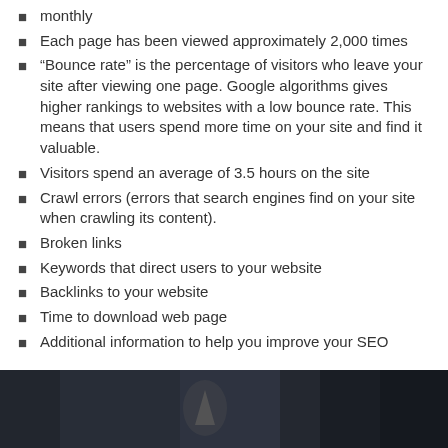monthly
Each page has been viewed approximately 2,000 times
“Bounce rate” is the percentage of visitors who leave your site after viewing one page. Google algorithms gives higher rankings to websites with a low bounce rate. This means that users spend more time on your site and find it valuable.
Visitors spend an average of 3.5 hours on the site
Crawl errors (errors that search engines find on your site when crawling its content).
Broken links
Keywords that direct users to your website
Backlinks to your website
Time to download web page
Additional information to help you improve your SEO
[Figure (photo): Dark background photo, partially visible, showing a person or object with a blurred indoor setting]